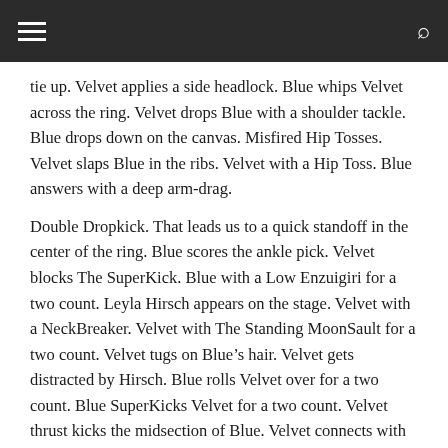tie up. Velvet applies a side headlock. Blue whips Velvet across the ring. Velvet drops Blue with a shoulder tackle. Blue drops down on the canvas. Misfired Hip Tosses. Velvet slaps Blue in the ribs. Velvet with a Hip Toss. Blue answers with a deep arm-drag.
Double Dropkick. That leads us to a quick standoff in the center of the ring. Blue scores the ankle pick. Velvet blocks The SuperKick. Blue with a Low Enzuigiri for a two count. Leyla Hirsch appears on the stage. Velvet with a NeckBreaker. Velvet with The Standing MoonSault for a two count. Velvet tugs on Blue's hair. Velvet gets distracted by Hirsch. Blue rolls Velvet over for a two count. Blue SuperKicks Velvet for a two count. Velvet thrust kicks the midsection of Blue. Velvet connects with The Final Slice to pickup the victory.
Winner: (45-21) Red Velvet via Pinfall
Third Match: (63-29) Frankie Kazarian vs. (26-42) Alan Angels w/The Dark Order